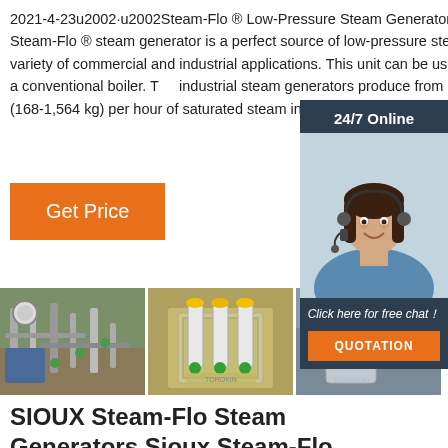2021-4-23u2002·u2002Steam-Flo ® Low-Pressure Steam Generator The Sioux Steam-Flo ® steam generator is a perfect source of low-pressure steam for a variety of commercial and industrial applications. This unit can be used in place of a conventional boiler. The industrial steam generators produce from 370- (168-1,564 kg) per hour of saturated steam in
[Figure (other): 24/7 Online chat widget with woman wearing headset and 'Click here for free chat!' message and QUOTATION button]
[Figure (photo): Orange Get Price button]
[Figure (photo): Three photos of industrial steam generators and equipment]
SIOUX Steam-Flo Steam Generators Sioux Steam-Flo